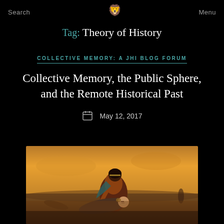Search | Menu
Tag: Theory of History
COLLECTIVE MEMORY: A JHI BLOG FORUM
Collective Memory, the Public Sphere, and the Remote Historical Past
May 12, 2017
[Figure (photo): A painting depicting a woman tending to a wounded man lying on a battlefield, with warm golden-orange sky in the background.]